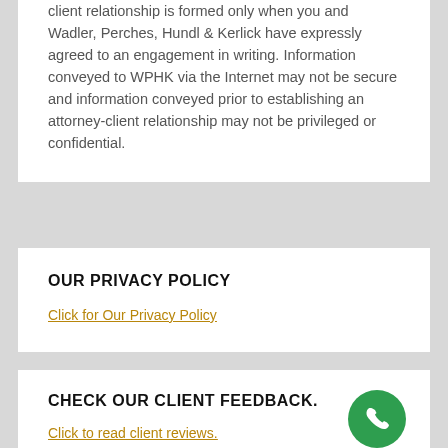client relationship is formed only when you and Wadler, Perches, Hundl & Kerlick have expressly agreed to an engagement in writing. Information conveyed to WPHK via the Internet may not be secure and information conveyed prior to establishing an attorney-client relationship may not be privileged or confidential.
OUR PRIVACY POLICY
Click for Our Privacy Policy
CHECK OUR CLIENT FEEDBACK.
Click to read client reviews.